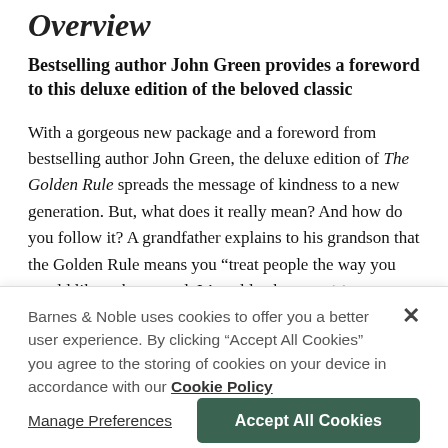Overview
Bestselling author John Green provides a foreword to this deluxe edition of the beloved classic
With a gorgeous new package and a foreword from bestselling author John Green, the deluxe edition of The Golden Rule spreads the message of kindness to a new generation. But, what does it really mean? And how do you follow it? A grandfather explains to his grandson that the Golden Rule means you “treat people the way you would like to be treated. It’s golden because it’s so valuable, and a way of living your life that’s so simple, it
Barnes & Noble uses cookies to offer you a better user experience. By clicking “Accept All Cookies” you agree to the storing of cookies on your device in accordance with our Cookie Policy
Manage Preferences
Accept All Cookies